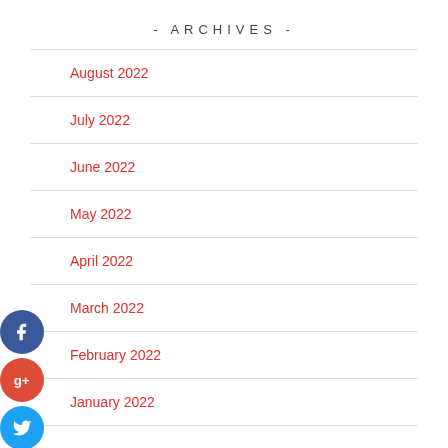- ARCHIVES -
August 2022
July 2022
June 2022
May 2022
April 2022
March 2022
February 2022
January 2022
[Figure (illustration): Social sharing buttons: Facebook (blue circle with f), Google+ (red circle with g+), Twitter (blue circle with bird), Add/Plus (dark blue circle with +)]